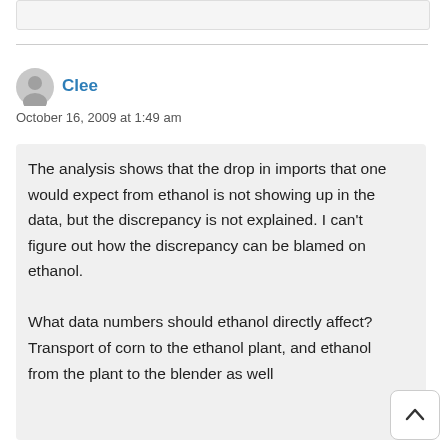Clee
October 16, 2009 at 1:49 am
The analysis shows that the drop in imports that one would expect from ethanol is not showing up in the data, but the discrepancy is not explained. I can't figure out how the discrepancy can be blamed on ethanol.

What data numbers should ethanol directly affect?
Transport of corn to the ethanol plant, and ethanol from the plant to the blender as well